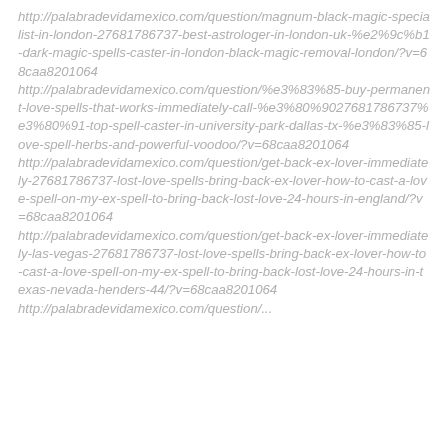http://palabradevidamexico.com/question/magnum-black-magic-specialist-in-london-27681786737-best-astrologer-in-london-uk-%e2%9c%b1-dark-magic-spells-caster-in-london-black-magic-removal-london/?v=68caa8201064
http://palabradevidamexico.com/question/%e3%83%85-buy-permanent-love-spells-that-works-immediately-call-%e3%80%9027681786737%e3%80%91-top-spell-caster-in-university-park-dallas-tx-%e3%83%85-love-spell-herbs-and-powerful-voodoo/?v=68caa8201064
http://palabradevidamexico.com/question/get-back-ex-lover-immediately-27681786737-lost-love-spells-bring-back-ex-lover-how-to-cast-a-love-spell-on-my-ex-spell-to-bring-back-lost-love-24-hours-in-england/?v=68caa8201064
http://palabradevidamexico.com/question/get-back-ex-lover-immediately-las-vegas-27681786737-lost-love-spells-bring-back-ex-lover-how-to-cast-a-love-spell-on-my-ex-spell-to-bring-back-lost-love-24-hours-in-texas-nevada-henders-44/?v=68caa8201064
http://palabradevidamexico.com/question/...